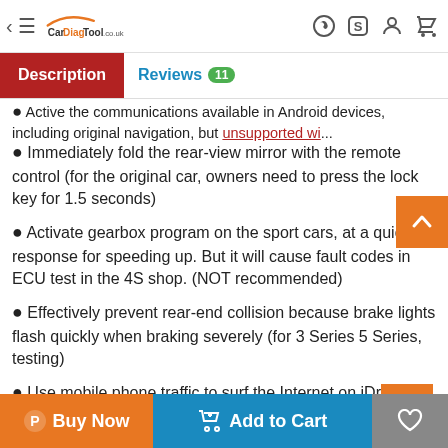CarDiagTool.co.uk navigation header
Description | Reviews 11
Immediately fold the rear-view mirror with the remote control (for the original car, owners need to press the lock key for 1.5 seconds)
Activate gearbox program on the sport cars, at a quicker response for speeding up. But it will cause fault codes in ECU test in the 4S shop. (NOT recommended)
Effectively prevent rear-end collision because brake lights flash quickly when braking severely (for 3 Series 5 Series, testing)
Use mobile phone traffic to surf the Internet on iDrive via the phone Bluetooth (not tested yet)
Adjust the warning speed of changing a lane (available in high-end cars with the rearview mirror with the dead angle warning indicator) (not tested yet)
Automatically change the...
Buy Now | Add to Cart | Wishlist